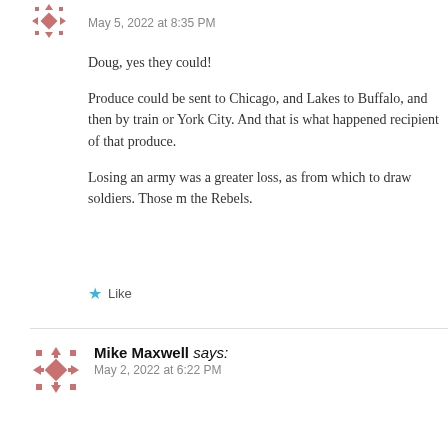May 5, 2022 at 8:35 PM
Doug, yes they could!
Produce could be sent to Chicago, and Lakes to Buffalo, and then by train or York City. And that is what happened recipient of that produce.
Losing an army was a greater loss, as from which to draw soldiers. Those m the Rebels.
Like
Mike Maxwell says:
May 2, 2022 at 6:22 PM